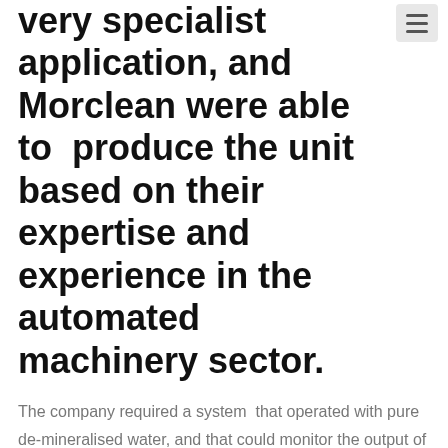very specialist application, and Morclean were able to produce the unit based on their expertise and experience in the automated machinery sector.
The company required a system that operated with pure de-mineralised water, and that could monitor the output of hot water used during cleaning in conjunction with an automated cleaning head.
We use cookies on our website to give you the most relevant experience by remembering your preferences and repeat visits. By clicking "Accept All", you consent to the use of ALL the cookies. However, you may visit "Cookie Settings" to provide a controlled consent.